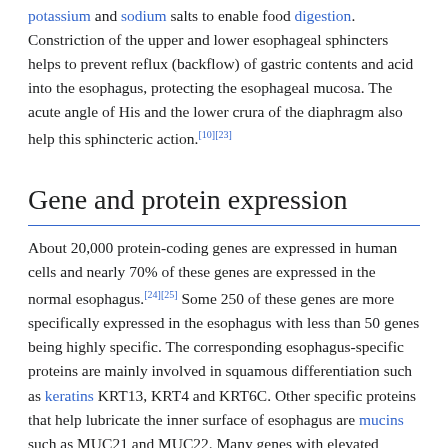potassium and sodium salts to enable food digestion. Constriction of the upper and lower esophageal sphincters helps to prevent reflux (backflow) of gastric contents and acid into the esophagus, protecting the esophageal mucosa. The acute angle of His and the lower crura of the diaphragm also help this sphincteric action.[10][23]
Gene and protein expression
About 20,000 protein-coding genes are expressed in human cells and nearly 70% of these genes are expressed in the normal esophagus.[24][25] Some 250 of these genes are more specifically expressed in the esophagus with less than 50 genes being highly specific. The corresponding esophagus-specific proteins are mainly involved in squamous differentiation such as keratins KRT13, KRT4 and KRT6C. Other specific proteins that help lubricate the inner surface of esophagus are mucins such as MUC21 and MUC22. Many genes with elevated expression are also shared